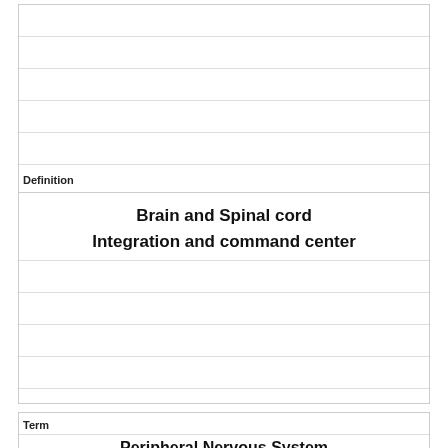Definition
Brain and Spinal cord
Integration and command center
Term
Peripheral Nervous System